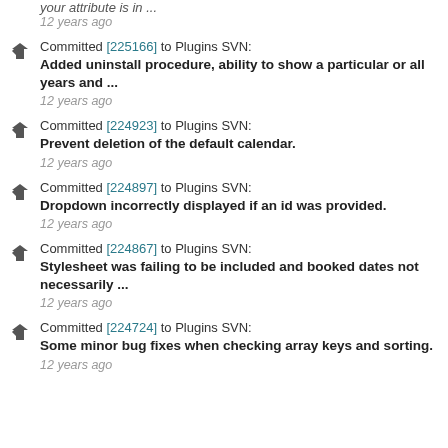your attribute is in ...
12 years ago
Committed [225166] to Plugins SVN:
Added uninstall procedure, ability to show a particular or all years and ...
12 years ago
Committed [224923] to Plugins SVN:
Prevent deletion of the default calendar.
12 years ago
Committed [224897] to Plugins SVN:
Dropdown incorrectly displayed if an id was provided.
12 years ago
Committed [224867] to Plugins SVN:
Stylesheet was failing to be included and booked dates not necessarily ...
12 years ago
Committed [224724] to Plugins SVN:
Some minor bug fixes when checking array keys and sorting.
12 years ago